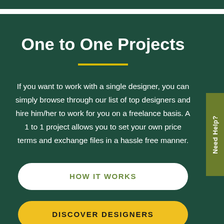One to One Projects
If you want to work with a single designer, you can simply browse through our list of top designers and hire him/her to work for you on a freelance basis. A 1 to 1 project allows you to set your own price terms and exchange files in a hassle free manner.
HOW IT WORKS
DISCOVER DESIGNERS
Need Help?